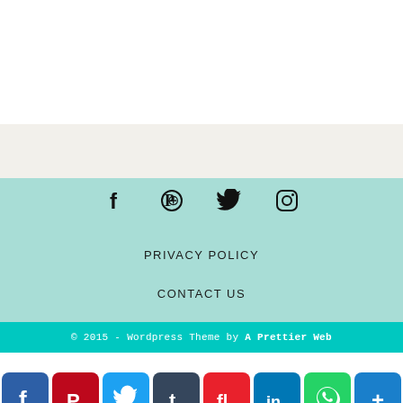[Figure (other): Social media icons row: Facebook, Pinterest, Twitter, Instagram]
PRIVACY POLICY
CONTACT US
© 2015 - Wordpress Theme by A Prettier Web
[Figure (other): Social share button bar: Facebook, Pinterest, Twitter, Tumblr, Flipboard, LinkedIn, WhatsApp, More]